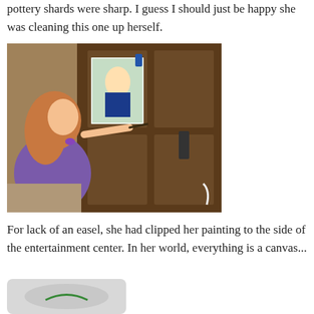She had donned her Lisa gloves for protection knowing the pottery shards were sharp. I guess I should just be happy she was cleaning this one up herself.
[Figure (photo): A young girl with long reddish-blonde hair wearing a purple dress, painting on a piece of paper that is clipped to the side of a wooden entertainment center. She holds a paintbrush toward the paper.]
For lack of an easel, she had clipped her painting to the side of the entertainment center. In her world, everything is a canvas...
[Figure (photo): A close-up photo showing what appears to be a white surface or container with a green drawing or mark on it.]